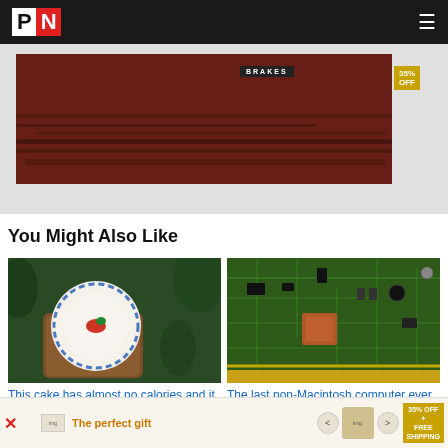PN (logo)
[Figure (photo): Advertisement banner with red background showing BRAKES text and 35% OFF badge]
You Might Also Like
[Figure (photo): Overhead photo of a blue and white plate with a small piece of food on a wooden board surrounded by greenery]
This cake has almost no calories and it doesn't look like any
[Figure (photo): Close-up photo of a green circuit board with electronic components]
The last non-Macintosh computer ever manufactured by Apple
[Figure (photo): Bottom advertisement banner: The perfect gift with 35% OFF + FREE SHIPPING]